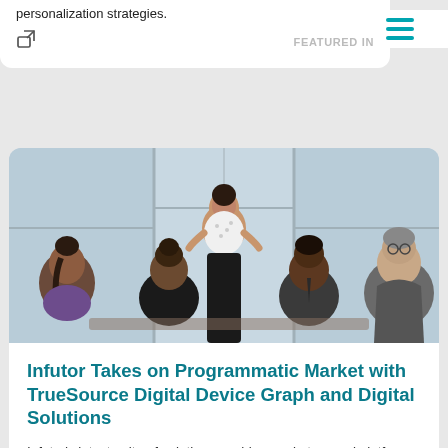personalization strategies.
FEATURED IN
[Figure (photo): Business meeting with a woman standing and presenting to a group of seated colleagues in a modern office with large windows.]
Infutor Takes on Programmatic Market with TrueSource Digital Device Graph and Digital Solutions
Infutor's latest suite of solutions enables marketers and platforms to digitize audiences and eliminate the need to ingest personally identifiable information